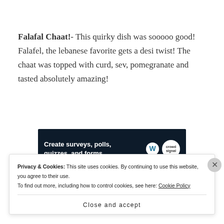Falafal Chaat!- This quirky dish was sooooo good! Falafel, the lebanese favorite gets a desi twist! The chaat was topped with curd, sev, pomegranate and tasted absolutely amazing!
[Figure (screenshot): Dark blue advertisement banner reading 'Create surveys, polls, quizzes, and forms.' with WordPress and CrowdSignal logos]
REPORT THIS AD
[Figure (photo): Food photo showing a clear plastic takeout container with colorful food items inside]
Privacy & Cookies: This site uses cookies. By continuing to use this website, you agree to their use.
To find out more, including how to control cookies, see here: Cookie Policy
Close and accept